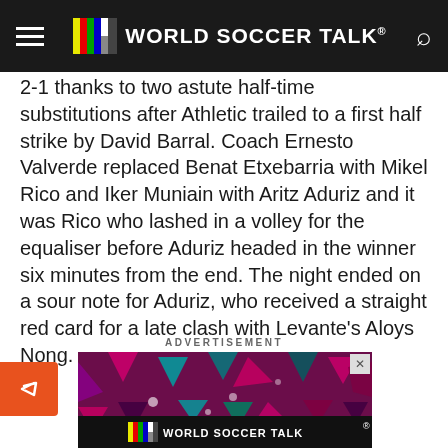WORLD SOCCER TALK
2-1 thanks to two astute half-time substitutions after Athletic trailed to a first half strike by David Barral. Coach Ernesto Valverde replaced Benat Etxebarria with Mikel Rico and Iker Muniain with Aritz Aduriz and it was Rico who lashed in a volley for the equaliser before Aduriz headed in the winner six minutes from the end. The night ended on a sour note for Aduriz, who received a straight red card for a late clash with Levante's Aloys Nong.
ADVERTISEMENT
[Figure (other): World Soccer Talk advertisement banner with colorful geometric shapes on dark background]